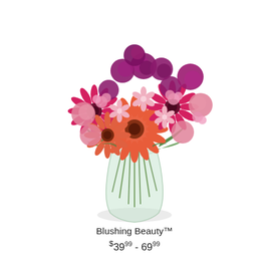[Figure (photo): A lush floral bouquet arrangement featuring coral and hot pink gerbera daisies, deep magenta carnations, pink alstroemeria, and pink stock flowers, all arranged in a clear glass vase with visible green stems.]
Blushing Beauty™
$39.99 - 69.99